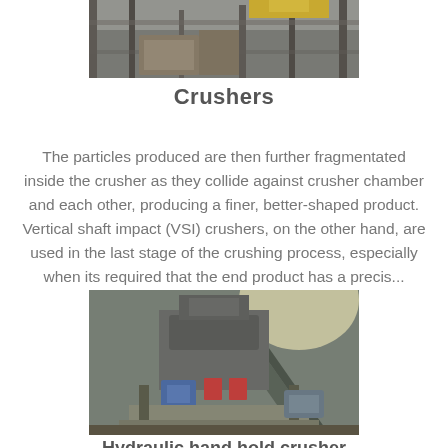[Figure (photo): Top portion of a crusher machine at an industrial facility, showing heavy metal framework and equipment with yellow painted components.]
Crushers
The particles produced are then further fragmentated inside the crusher as they collide against crusher chamber and each other, producing a finer, better-shaped product. Vertical shaft impact (VSI) crushers, on the other hand, are used in the last stage of the crushing process, especially when its required that the end product has a precis...
[Figure (photo): A hydraulic hand hold crusher machine at an industrial quarry site, showing large heavy equipment with blue and red components, conveyor belts and structural steel framework.]
Hydraulic hand hold crusher